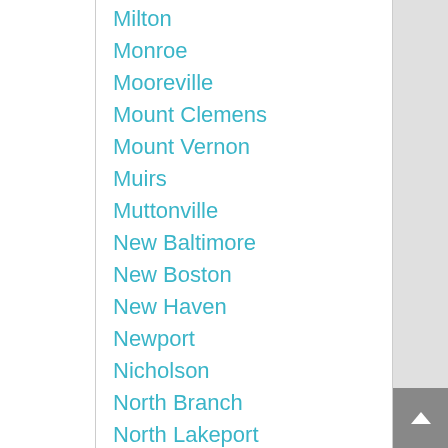Milton
Monroe
Mooreville
Mount Clemens
Mount Vernon
Muirs
Muttonville
New Baltimore
New Boston
New Haven
Newport
Nicholson
North Branch
North Lakeport
North Shores
Northville
Norton
Notten
Novi